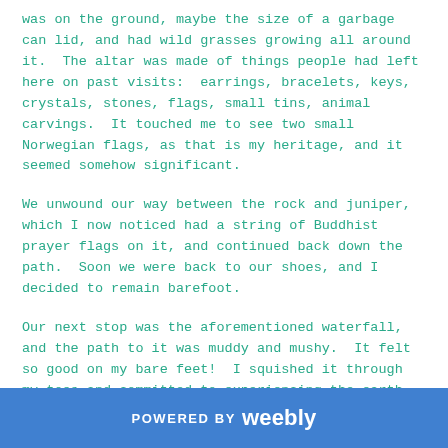was on the ground, maybe the size of a garbage can lid, and had wild grasses growing all around it.  The altar was made of things people had left here on past visits:  earrings, bracelets, keys, crystals, stones, flags, small tins, animal carvings.  It touched me to see two small Norwegian flags, as that is my heritage, and it seemed somehow significant.
We unwound our way between the rock and juniper, which I now noticed had a string of Buddhist prayer flags on it, and continued back down the path.  Soon we were back to our shoes, and I decided to remain barefoot.
Our next stop was the aforementioned waterfall, and the path to it was muddy and mushy.  It felt so good on my bare feet!  I squished it through my toes and committed to experiencing the earth with bare feet
POWERED BY weebly